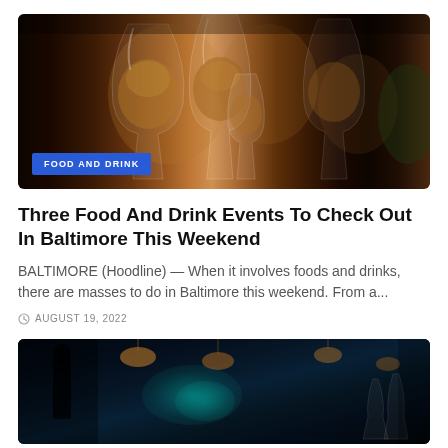[Figure (photo): Wine glasses filled with amber/golden wine against a dark background, arranged in a row]
FOOD AND DRINK
Three Food And Drink Events To Check Out In Baltimore This Weekend
BALTIMORE (Hoodline) — When it involves foods and drinks, there are masses to do in Baltimore this weekend. From a...
AUGUST 19, 2022
[Figure (photo): Dark bar interior with teal lighting and warm pendant lights, bar glasses visible]